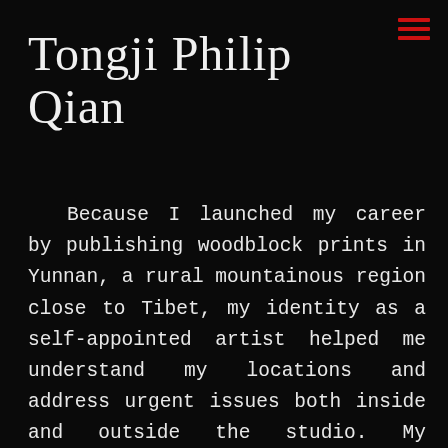Tongji Philip Qian
Because I launched my career by publishing woodblock prints in Yunnan, a rural mountainous region close to Tibet, my identity as a self-appointed artist helped me understand my locations and address urgent issues both inside and outside the studio. My fascination with productivity and expertise has opened multiple doors to combine discipline and freedom. As a result, a re-framing of the notion of "labor" informs my current practice: I am interested in the speed of artistic creation in terms of the expansion of concept and the engagement with time. More precisely, I aspire to